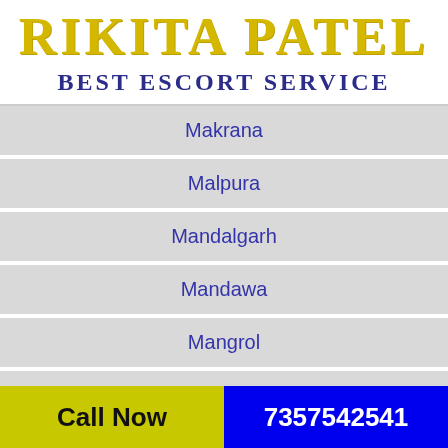RIKITA PATEL
BEST ESCORT SERVICE
Makrana
Malpura
Mandalgarh
Mandawa
Mangrol
Merta City
Mount Abu
Call Now   7357542541